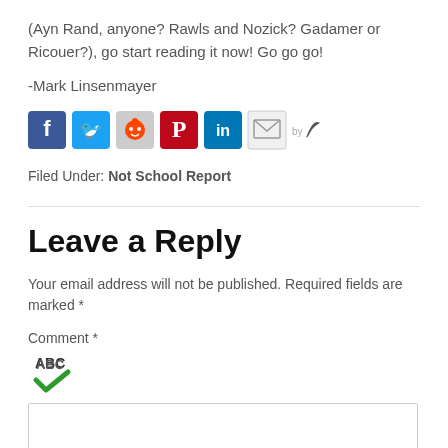(Ayn Rand, anyone? Rawls and Nozick? Gadamer or Ricouer?), go start reading it now! Go go go!
-Mark Linsenmayer
[Figure (infographic): Row of social media sharing icons: Facebook, Twitter, Reddit, Pinterest, LinkedIn, Email, and a 'by' feather logo]
Filed Under: Not School Report
Leave a Reply
Your email address will not be published. Required fields are marked *
Comment *
[Figure (other): ABC spellcheck icon with green checkmark]
Comment text input box (empty)